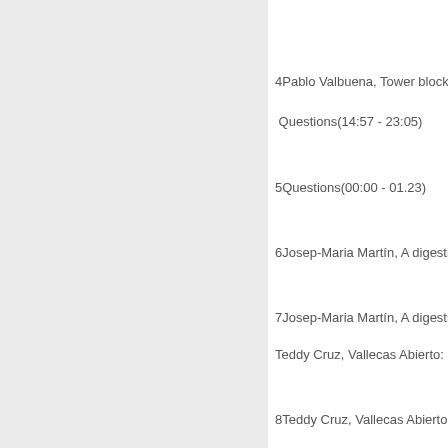4Pablo Valbuena, Tower block(00:0…
Questions(14:57 - 23:05)
5Questions(00:00 - 01.23)
6Josep-Maria Martín, A digestive h…
7Josep-Maria Martín, A digestive h…
Teddy Cruz, Vallecas Abierto: How…
8Teddy Cruz, Vallecas Abierto: Ho…